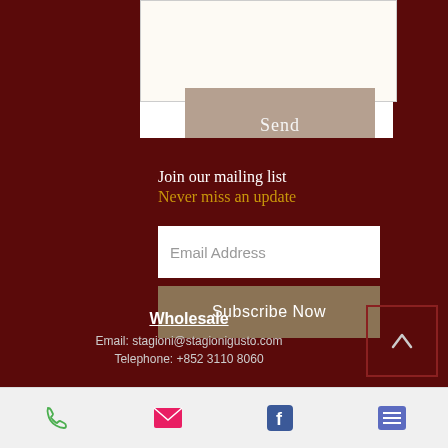Send
Join our mailing list
Never miss an update
Email Address
Subscribe Now
Wholesale
Email: stagioni@stagionigusto.com
Telephone: +852 3110 8060
Our showroom
Phone | Email | Facebook | Menu